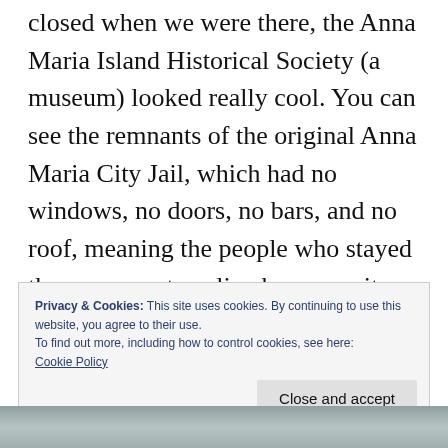closed when we were there, the Anna Maria Island Historical Society (a museum) looked really cool. You can see the remnants of the original Anna Maria City Jail, which had no windows, no doors, no bars, and no roof, meaning the people who stayed there were eaten alive by mosquitoes and suffered in the heat. According to the posted sign, no one “misbehaved” after spending one night in the jail. There’s also a historical home and some signs with interesting historical information.
Privacy & Cookies: This site uses cookies. By continuing to use this website, you agree to their use.
To find out more, including how to control cookies, see here:
Cookie Policy
[Figure (photo): Bottom strip showing the top edge of a photograph, appearing to show a coastal or outdoor scene in muted gray-blue tones.]